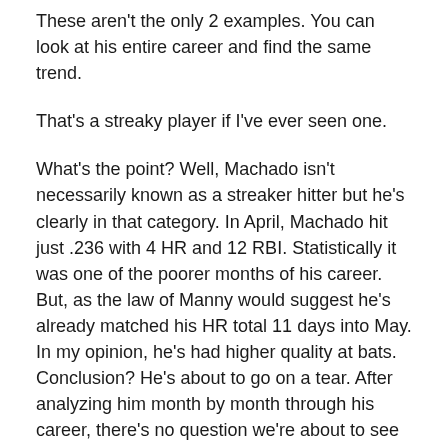These aren't the only 2 examples. You can look at his entire career and find the same trend.
That's a streaky player if I've ever seen one.
What's the point? Well, Machado isn't necessarily known as a streaker hitter but he's clearly in that category. In April, Machado hit just .236 with 4 HR and 12 RBI. Statistically it was one of the poorer months of his career. But, as the law of Manny would suggest he's already matched his HR total 11 days into May. In my opinion, he's had higher quality at bats. Conclusion? He's about to go on a tear. After analyzing him month by month through his career, there's no question we're about to see a different ball player.
Time will tell, but the team is winning without their